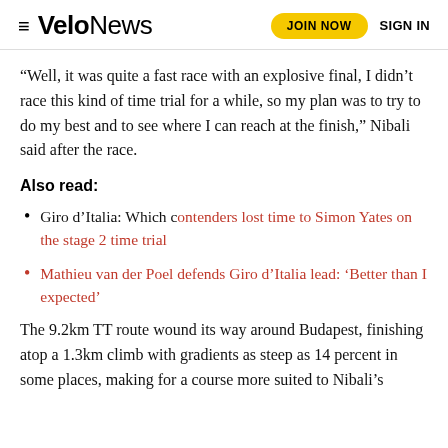VeloNews  JOIN NOW  SIGN IN
“Well, it was quite a fast race with an explosive final, I didn’t race this kind of time trial for a while, so my plan was to try to do my best and to see where I can reach at the finish,” Nibali said after the race.
Also read:
Giro d’Italia: Which contenders lost time to Simon Yates on the stage 2 time trial
Mathieu van der Poel defends Giro d’Italia lead: ‘Better than I expected’
The 9.2km TT route wound its way around Budapest, finishing atop a 1.3km climb with gradients as steep as 14 percent in some places, making for a course more suited to Nibali’s